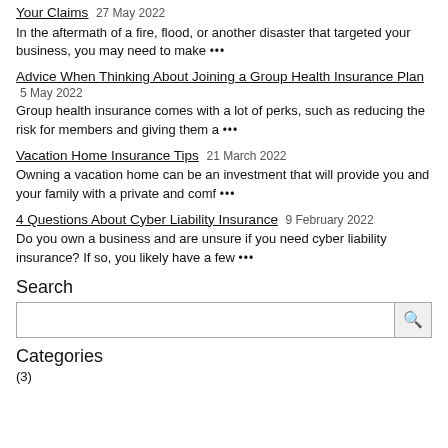Your Claims 27 May 2022
In the aftermath of a fire, flood, or another disaster that targeted your business, you may need to make •••
Advice When Thinking About Joining a Group Health Insurance Plan 5 May 2022
Group health insurance comes with a lot of perks, such as reducing the risk for members and giving them a •••
Vacation Home Insurance Tips 21 March 2022
Owning a vacation home can be an investment that will provide you and your family with a private and comf •••
4 Questions About Cyber Liability Insurance 9 February 2022
Do you own a business and are unsure if you need cyber liability insurance? If so, you likely have a few •••
Search
Categories
(3)